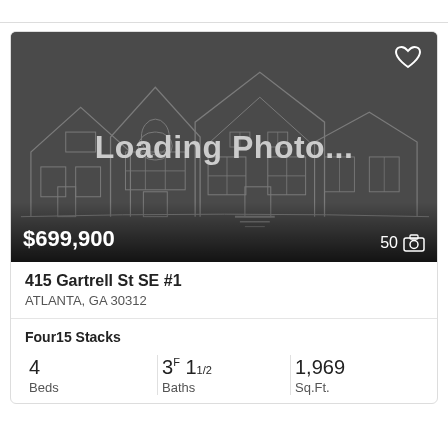[Figure (photo): Real estate listing card showing a placeholder 'Loading Photo...' image with a dark background and house outline illustration. Price shown as $699,900 with 50 photos indicator.]
415 Gartrell St SE #1
ATLANTA, GA 30312
Four15 Stacks
4 Beds
3F 11/2 Baths
1,969 Sq.Ft.